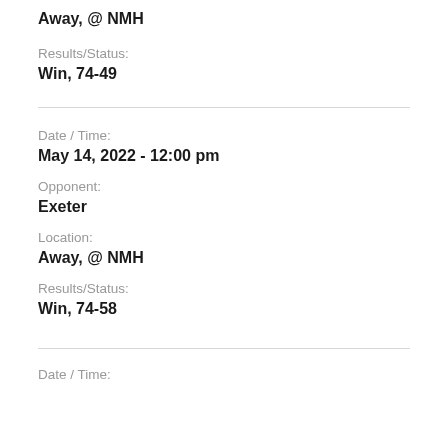Away, @ NMH
Results/Status:
Win, 74-49
Date / Time:
May 14, 2022 - 12:00 pm
Opponent:
Exeter
Location:
Away, @ NMH
Results/Status:
Win, 74-58
Date / Time: